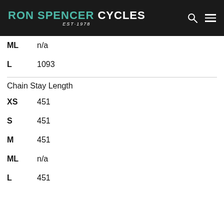RON SPENCER CYCLES EST·1978
ML   n/a
L   1093
Chain Stay Length
XS   451
S   451
M   451
ML   n/a
L   451